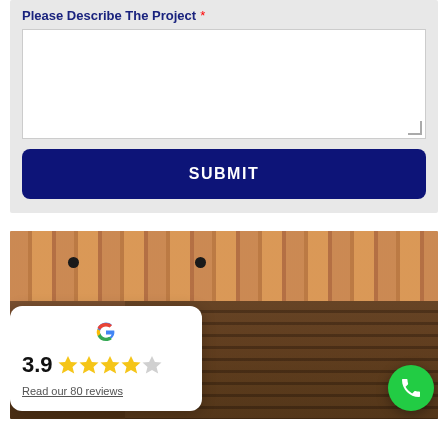Please Describe The Project *
[Figure (screenshot): An outdoor kitchen/patio area with wood-planked ceiling with recessed lights and brick wall background, showing BBQ grill setup]
[Figure (infographic): Google review widget showing 3.9 star rating with 80 reviews]
[Figure (photo): Green phone call button (circular)]